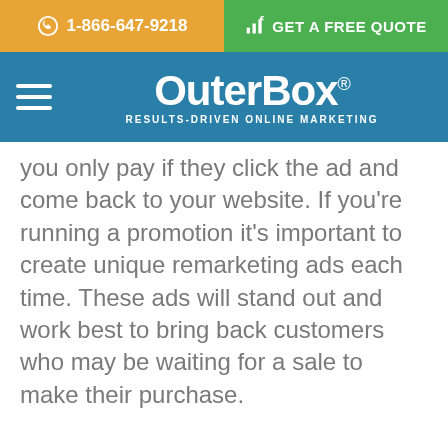☎ 1-866-647-9218 | GET A FREE QUOTE
[Figure (logo): OuterBox logo with hamburger menu on teal navigation bar. Logo text reads 'OuterBox' with tagline 'RESULTS-DRIVEN ONLINE MARKETING']
you only pay if they click the ad and come back to your website. If you're running a promotion it's important to create unique remarketing ads each time. These ads will stand out and work best to bring back customers who may be waiting for a sale to make their purchase.